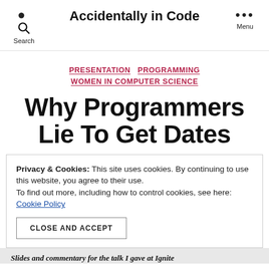Accidentally in Code
PRESENTATION  PROGRAMMING  WOMEN IN COMPUTER SCIENCE
Why Programmers Lie To Get Dates
Privacy & Cookies: This site uses cookies. By continuing to use this website, you agree to their use. To find out more, including how to control cookies, see here: Cookie Policy
CLOSE AND ACCEPT
Slides and commentary for the talk I gave at Ignite